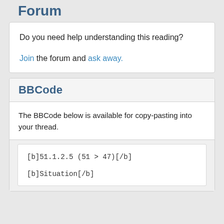Forum
Do you need help understanding this reading?

Join the forum and ask away.
BBCode
The BBCode below is available for copy-pasting into your thread.
[b]51.1.2.5 (51 > 47)[/b]

[b]Situation[/b]